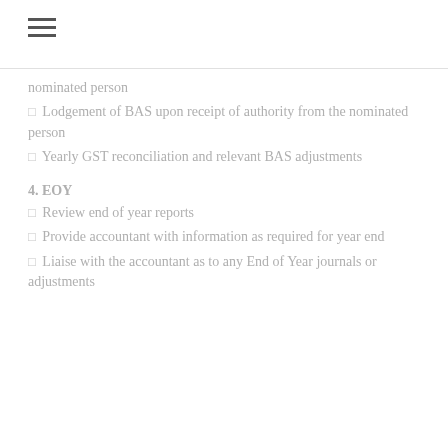nominated person
☐ Lodgement of BAS upon receipt of authority from the nominated person
☐ Yearly GST reconciliation and relevant BAS adjustments
4. EOY
☐ Review end of year reports
☐ Provide accountant with information as required for year end
☐ Liaise with the accountant as to any End of Year journals or adjustments